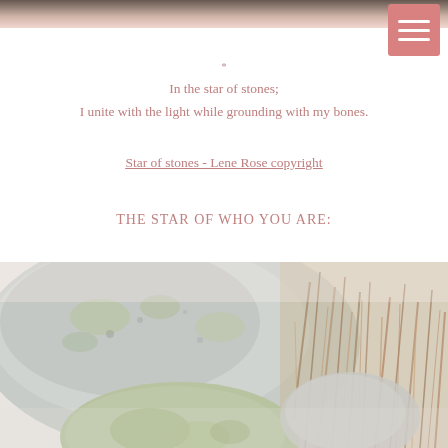*
In the star of stones;
I unite with the light while grounding with my bones.
Star of stones - Lene Rose copyright
THE STAR OF WHO YOU ARE:
[Figure (photo): Outdoor photograph of large lichen-covered granite rocks and dried grass/reeds in a natural setting. Rocks are grey-white with green-yellow lichen patches. Dry reddish-brown grass fills the right side.]